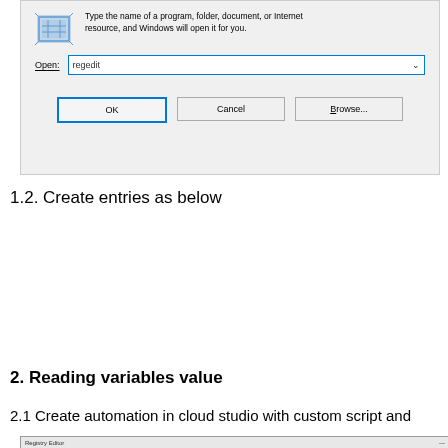[Figure (screenshot): Windows Run dialog with 'regedit' typed in the Open field, showing OK, Cancel, and Browse buttons]
1.2. Create entries as below
[Figure (screenshot): Windows Registry Editor showing SAP/Cloud Connector/Credentials node with Edit String dialogs open for username and password entries, with an orange callout bubble labeled 'Newly created Nodes' and orange arrows pointing to the dialog fields]
2. Reading variables value
2.1 Create automation in cloud studio with custom script and